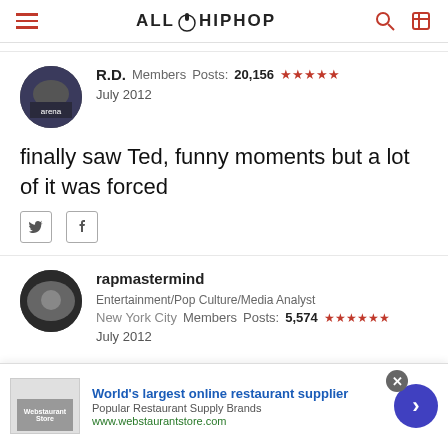ALLHIPHOP
R.D.   Members   Posts: 20,156   ★★★★★
July 2012
finally saw Ted, funny moments but a lot of it was forced
rapmastermind   Entertainment/Pop Culture/Media Analyst
New York City   Members   Posts: 5,574   ★★★★★★
July 2012
[Figure (infographic): Advertisement banner for webstaurantstore.com - World's largest online restaurant supplier]